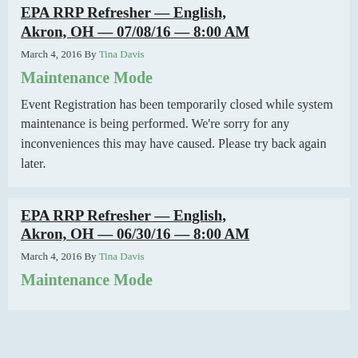EPA RRP Refresher — English, Akron, OH — 07/08/16 — 8:00 AM
March 4, 2016 By Tina Davis
Maintenance Mode
Event Registration has been temporarily closed while system maintenance is being performed. We're sorry for any inconveniences this may have caused. Please try back again later.
EPA RRP Refresher — English, Akron, OH — 06/30/16 — 8:00 AM
March 4, 2016 By Tina Davis
Maintenance Mode